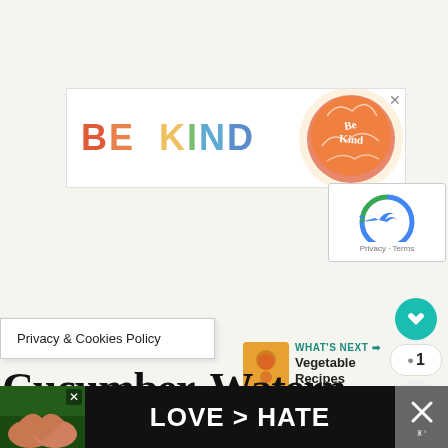[Figure (other): BE KIND advertisement banner with colorful letters and decorative logo]
[Figure (other): reCAPTCHA widget showing Privacy and Terms links]
[Figure (other): Social sidebar with heart button (teal), count badge showing 1, and share button]
Privacy & Cookies Policy
[Figure (other): WHAT'S NEXT panel with food thumbnail and Vegetable Recipes label]
Cucumber, Watern... Juice
[Figure (other): LOVE > HATE bottom advertisement banner with hands making heart shape]